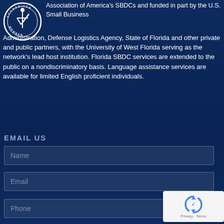[Figure (logo): Circular accreditation badge with text 'ACCREDITED MEMBER' around the border and a figure/logo in the center, white on dark blue background]
Association of America's SBDCs and funded in part by the U.S. Small Business Administration, Defense Logistics Agency, State of Florida and other private and public partners, with the University of West Florida serving as the network's lead host institution. Florida SBDC services are extended to the public on a nondiscriminatory basis. Language assistance services are available for limited English proficient individuals.
EMAIL US
Name
Email
Phone
[Figure (screenshot): reCAPTCHA widget showing the reCAPTCHA logo (stylized checkmark) and 'Privacy - Terms' text]